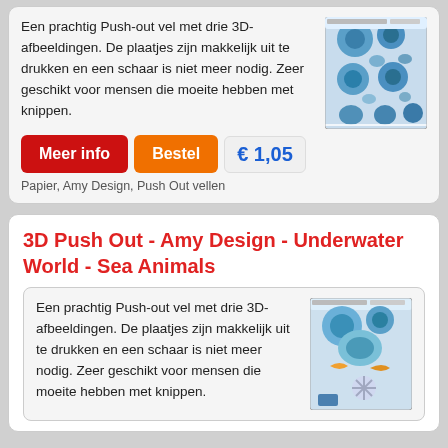Een prachtig Push-out vel met drie 3D-afbeeldingen. De plaatjes zijn makkelijk uit te drukken en een schaar is niet meer nodig. Zeer geschikt voor mensen die moeite hebben met knippen.
[Figure (photo): Product image of a 3D push-out sheet with sea/ocean themed circular images]
Meer info
Bestel
€ 1,05
Papier, Amy Design, Push Out vellen
3D Push Out - Amy Design - Underwater World - Sea Animals
Een prachtig Push-out vel met drie 3D-afbeeldingen. De plaatjes zijn makkelijk uit te drukken en een schaar is niet meer nodig. Zeer geschikt voor mensen die moeite hebben met knippen.
[Figure (photo): Product image of a 3D push-out sheet with sea animals themed images]